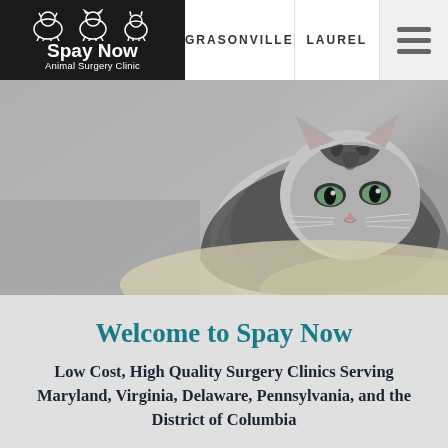[Figure (screenshot): Website header/navigation bar for Spay Now Animal Surgery Clinic with logo, GRASONVILLE and LAUREL navigation buttons, and a hamburger menu icon]
[Figure (photo): Black and white photograph of a tabby kitten resting, looking at the camera, with a blurred background]
Welcome to Spay Now
Low Cost, High Quality Surgery Clinics Serving Maryland, Virginia, Delaware, Pennsylvania, and the District of Columbia